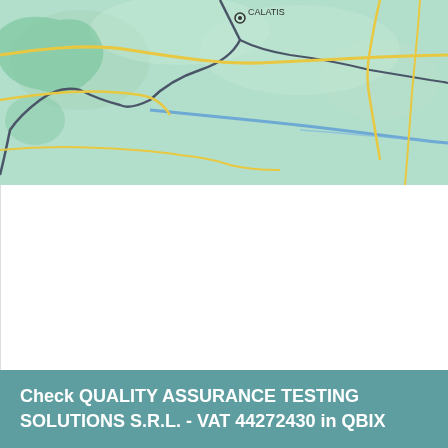[Figure (map): Partial geographic map showing green terrain, yellow roads, dark boundary lines, and a blue river/water feature. A location marker is visible near the top center.]
Check QUALITY ASSURANCE TESTING SOLUTIONS S.R.L. - VAT 44272430 in QBIX